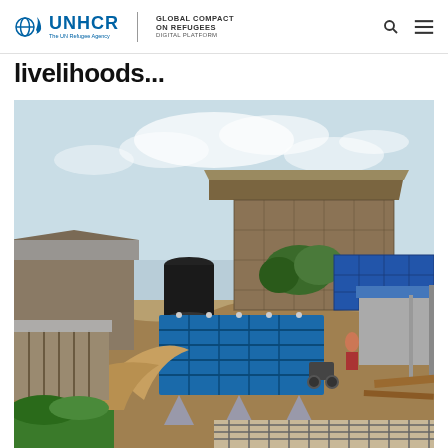UNHCR | GLOBAL COMPACT ON REFUGEES | DIGITAL PLATFORM
livelihoods...
[Figure (photo): A refugee camp settlement with makeshift structures, shelters with metal and bamboo construction, a large blue water storage tank in the center, and construction materials visible on hilly terrain under a partly cloudy sky.]